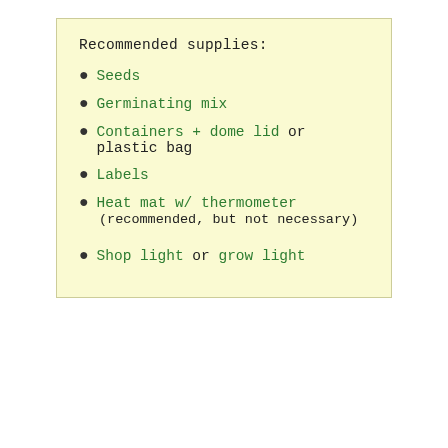Recommended supplies:
Seeds
Germinating mix
Containers + dome lid or plastic bag
Labels
Heat mat w/ thermometer (recommended, but not necessary)
Shop light or grow light